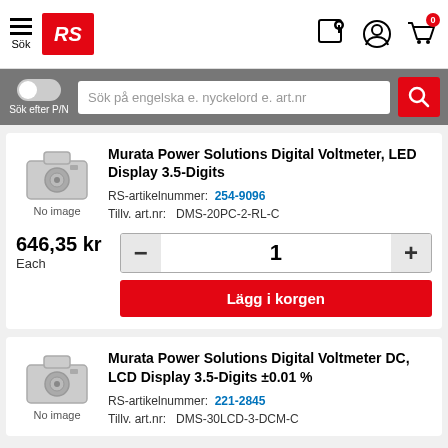[Figure (screenshot): RS Components e-commerce website header with hamburger menu, RS logo, location pin icon, user account icon, and shopping cart icon with badge showing 0]
[Figure (screenshot): Search bar with P/N toggle and search input placeholder 'Sök på engelska e. nyckelord e. art.nr']
Murata Power Solutions Digital Voltmeter, LED Display 3.5-Digits
RS-artikelnummer: 254-9096
Tillv. art.nr: DMS-20PC-2-RL-C
646,35 kr
Each
Lägg i korgen
Murata Power Solutions Digital Voltmeter DC, LCD Display 3.5-Digits ±0.01 %
RS-artikelnummer: 221-2845